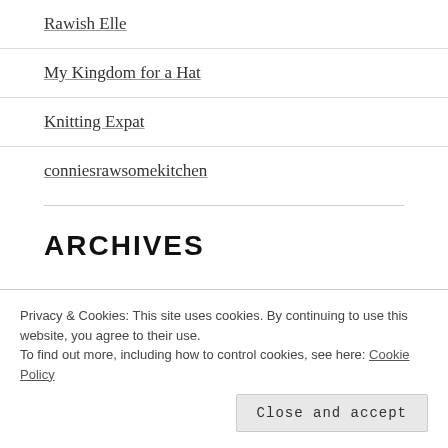Rawish Elle
My Kingdom for a Hat
Knitting Expat
conniesrawsomekitchen
ARCHIVES
February 2022
November 2021
August 2021
Privacy & Cookies: This site uses cookies. By continuing to use this website, you agree to their use.
To find out more, including how to control cookies, see here: Cookie Policy
March 2021